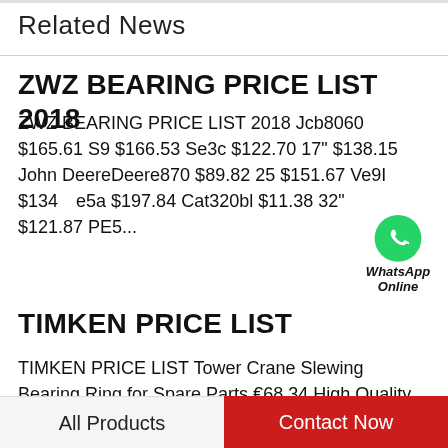Related News
ZWZ BEARING PRICE LIST 2018
ZWZ BEARING PRICE LIST 2018 Jcb8060 $165.61 S9 $166.53 Se3c $122.70 17" $138.15 John DeereDeere870 $89.82 25 $151.67 Ve9I $134...e5a $197.84 Cat320bl $11.38 32" $121.87 PE5...
[Figure (logo): WhatsApp green chat bubble icon with phone symbol, labeled 'WhatsApp Online']
TIMKEN PRICE LIST
TIMKEN PRICE LIST Tower Crane Slewing Bearing Ring for Spare Parts €68.34 High Quality Excavator Swing Rings Slewing Bearing €45.62 Forging Slewing Bearings Ring by CNC Machinings €195.43 High Quality Slewing Rings Bearing
All Products    Contact Now